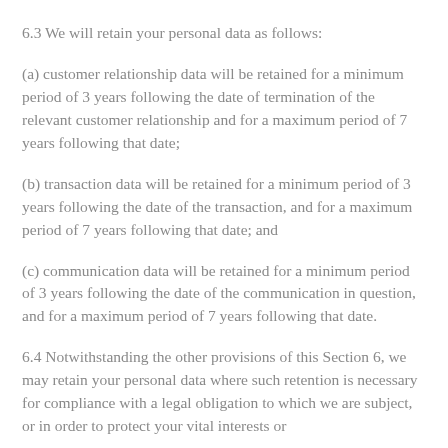6.3 We will retain your personal data as follows:
(a) customer relationship data will be retained for a minimum period of 3 years following the date of termination of the relevant customer relationship and for a maximum period of 7 years following that date;
(b) transaction data will be retained for a minimum period of 3 years following the date of the transaction, and for a maximum period of 7 years following that date; and
(c) communication data will be retained for a minimum period of 3 years following the date of the communication in question, and for a maximum period of 7 years following that date.
6.4 Notwithstanding the other provisions of this Section 6, we may retain your personal data where such retention is necessary for compliance with a legal obligation to which we are subject, or in order to protect your vital interests or